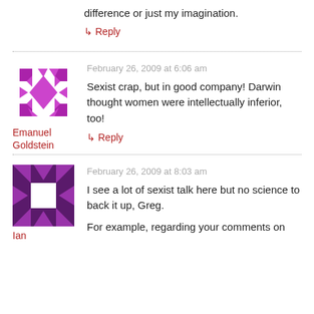difference or just my imagination.
↳ Reply
February 26, 2009 at 6:06 am
[Figure (illustration): Purple geometric avatar for Emanuel Goldstein]
Emanuel Goldstein
Sexist crap, but in good company! Darwin thought women were intellectually inferior, too!
↳ Reply
February 26, 2009 at 8:03 am
[Figure (illustration): Dark purple geometric avatar for Ian]
Ian
I see a lot of sexist talk here but no science to back it up, Greg.
For example, regarding your comments on